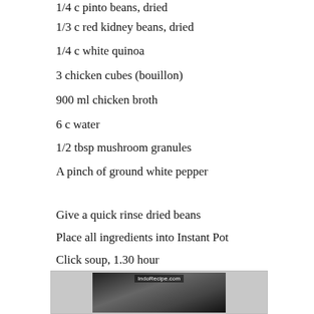1/4 c pinto beans, dried
1/3 c red kidney beans, dried
1/4 c white quinoa
3 chicken cubes (bouillon)
900 ml chicken broth
6 c water
1/2 tbsp mushroom granules
A pinch of ground white pepper
Give a quick rinse dried beans
Place all ingredients into Instant Pot
Click soup, 1.30 hour
[Figure (photo): Photo of a dish from IndoRecipe.com]